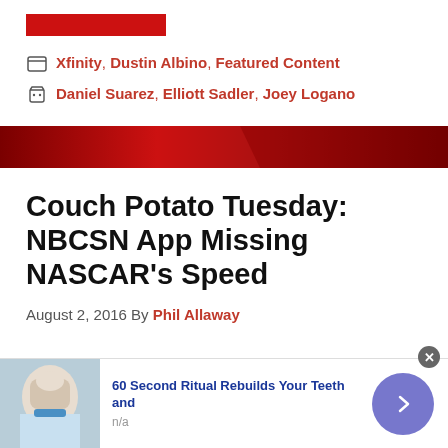[Figure (other): Red rectangular banner bar at top of page]
Xfinity, Dustin Albino, Featured Content
Daniel Suarez, Elliott Sadler, Joey Logano
[Figure (photo): Red gradient divider banner with NASCAR racing imagery]
Couch Potato Tuesday: NBCSN App Missing NASCAR's Speed
August 2, 2016 By Phil Allaway
[Figure (photo): Advertisement: 60 Second Ritual Rebuilds Your Teeth and - showing dental/medical image with blue arrow button]